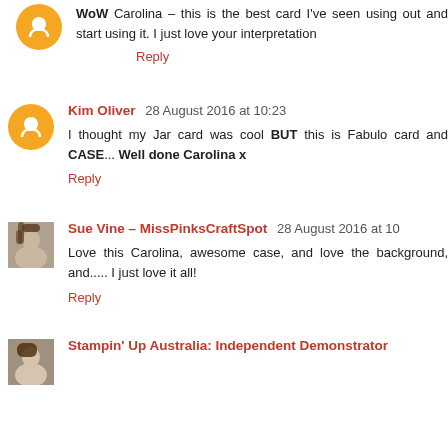WoW Carolina – this is the best card I've seen using out and start using it. I just love your interpretation
Reply
Kim Oliver 28 August 2016 at 10:23
I thought my Jar card was cool BUT this is Fabulo card and CASE... Well done Carolina x
Reply
Sue Vine – MissPinksCraftSpot 28 August 2016 at 10
Love this Carolina, awesome case, and love the background, and..... I just love it all!
Reply
Stampin' Up Australia: Independent Demonstrator